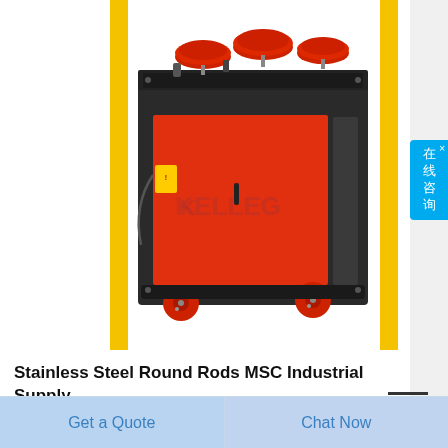[Figure (photo): Industrial steel rod bending machine with red body, black frame, red wheels, and red rollers on top. Brand watermark 'KELLEG' visible on the machine body. Machine is on a white background with yellow vertical border stripes on left and right sides.]
Stainless Steel Round Rods MSC Industrial Supply
Admin   2018-09-28
Get a Quote
Chat Now